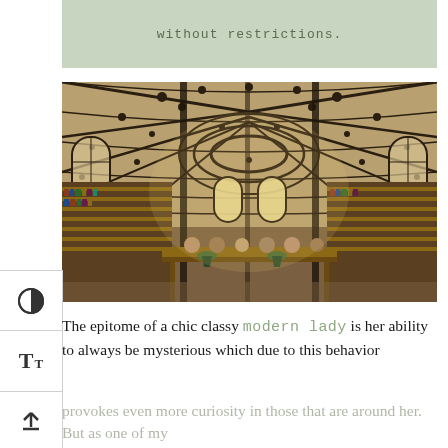without restrictions.
[Figure (photo): Interior of a grand library reading room with ornate iron arched ceiling, long rows of bookshelves, and many readers seated at tables. Tall arched windows let in light. The architecture is Victorian/Second Empire style.]
The epitome of a chic classy modern lady is her ability to always be mysterious which due to this behavior provokes even more curiosity in those that are around her. But as one of my